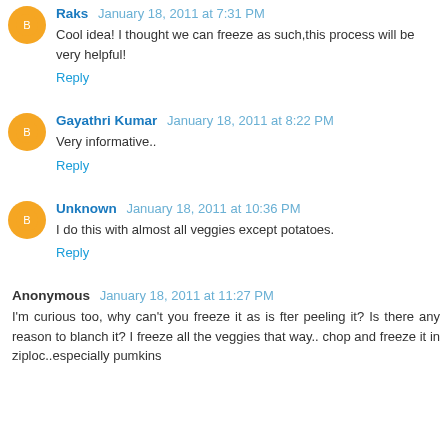Raks January 18, 2011 at 7:31 PM
Cool idea! I thought we can freeze as such,this process will be very helpful!
Reply
Gayathri Kumar January 18, 2011 at 8:22 PM
Very informative..
Reply
Unknown January 18, 2011 at 10:36 PM
I do this with almost all veggies except potatoes.
Reply
Anonymous January 18, 2011 at 11:27 PM
I'm curious too, why can't you freeze it as is fter peeling it? Is there any reason to blanch it? I freeze all the veggies that way.. chop and freeze it in ziploc..especially pumkins